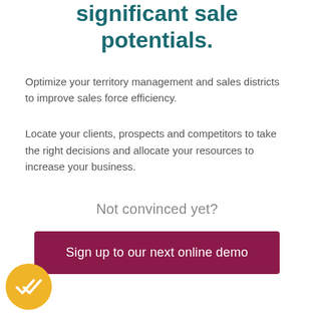significant sale potentials.
Optimize your territory management and sales districts to improve sales force efficiency.
Locate your clients, prospects and competitors to take the right decisions and allocate your resources to increase your business.
Not convinced yet?
Sign up to our next online demo